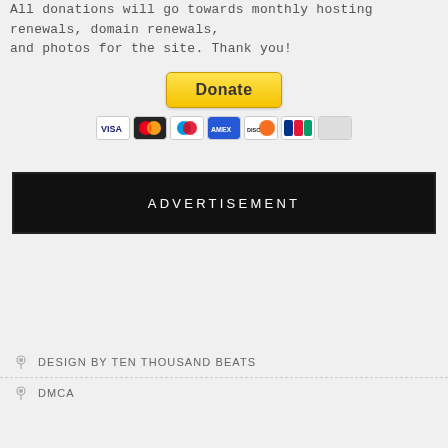All donations will go towards monthly hosting renewals, domain renewals, and photos for the site. Thank you!
[Figure (other): PayPal Donate button with payment card icons (Visa, Mastercard, Maestro, Amex, Discover, and others)]
ADVERTISEMENT
DESIGN BY TEN THOUSAND BEATS
DMCA